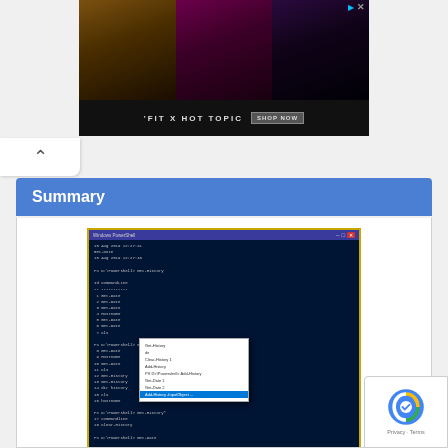[Figure (screenshot): Advertisement banner for 'FIT X HOT TOPIC' with three women in dark clothing on dark backgrounds, with 'SHOP NOW' button]
[Figure (screenshot): Windows PowerShell terminal screenshot showing command history output with a popup context menu dialog visible]
Article Name PowerShell Command Histor
Description PowerShell History. In this tutorial you learn about